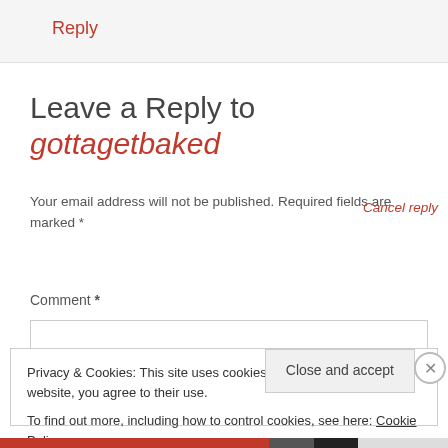Reply
Leave a Reply to gottagetbaked
Your email address will not be published. Required fields are marked *
Cancel reply
Comment *
Privacy & Cookies: This site uses cookies. By continuing to use this website, you agree to their use.
To find out more, including how to control cookies, see here: Cookie Policy
Close and accept